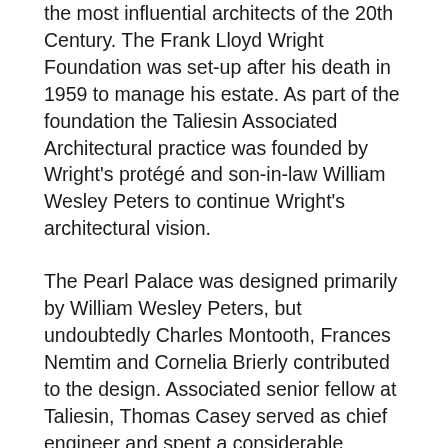the most influential architects of the 20th Century. The Frank Lloyd Wright Foundation was set-up after his death in 1959 to manage his estate. As part of the foundation the Taliesin Associated Architectural practice was founded by Wright's protégé and son-in-law William Wesley Peters to continue Wright's architectural vision.
The Pearl Palace was designed primarily by William Wesley Peters, but undoubtedly Charles Montooth, Frances Nemtim and Cornelia Brierly contributed to the design. Associated senior fellow at Taliesin, Thomas Casey served as chief engineer and spent a considerable amount of time in Iran.
It is my understanding that when the Princess was presented with the original drawings she was so emotionally moved, because they had envisioned the Palace that she dreamed of, that she burst into tears